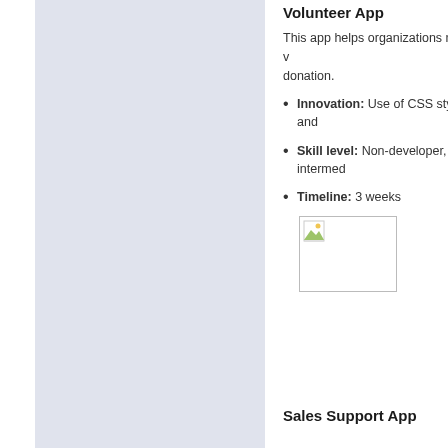Volunteer App
This app helps organizations recruit v... donation.
Innovation: Use of CSS styling and...
Skill level: Non-developer, intermed...
Timeline: 3 weeks
[Figure (screenshot): Placeholder image icon for Volunteer App screenshot]
Sales Support App